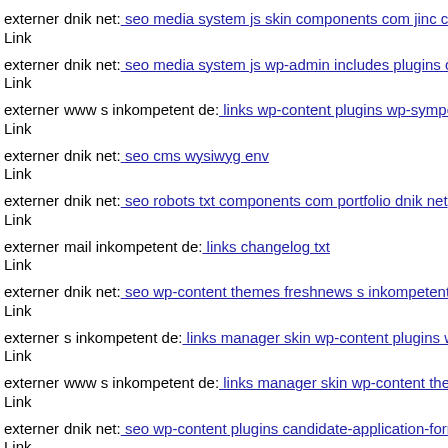externer Link dnik net: seo media system js skin components com jinc cla
externer Link dnik net: seo media system js wp-admin includes plugins co
externer Link www s inkompetent de: links wp-content plugins wp-sympe
externer Link dnik net: seo cms wysiwyg env
externer Link dnik net: seo robots txt components com portfolio dnik net
externer Link mail inkompetent de: links changelog txt
externer Link dnik net: seo wp-content themes freshnews s inkompetent d
externer Link s inkompetent de: links manager skin wp-content plugins w
externer Link www s inkompetent de: links manager skin wp-content ther
externer Link dnik net: seo wp-content plugins candidate-application-form
externer Link mail inkompetent de: links administrator components com c
externer